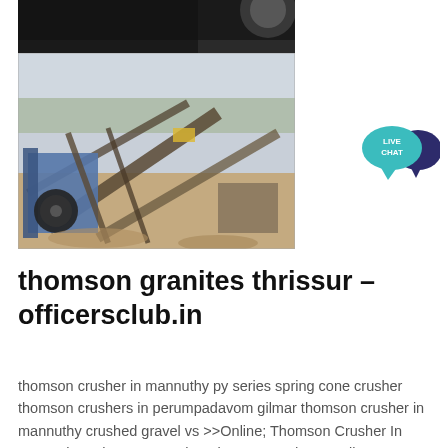[Figure (photo): Top portion of a mining/crushing machinery site image, dark background visible at top]
[Figure (photo): Aerial view of a stone crushing plant with conveyor belts, crushers, and excavated ground in a sandy/dusty environment]
[Figure (illustration): Live Chat button icon - teal speech bubble with 'LIVE CHAT' text and dark blue speech bubble behind]
thomson granites thrissur - officersclub.in
thomson crusher in mannuthy py series spring cone crusher thomson crushers in perumpadavom gilmar thomson crusher in mannuthy crushed gravel vs >>Online; Thomson Crusher In Mannuthy . Thomson crushers in perumpadavom Gilmar, thomson